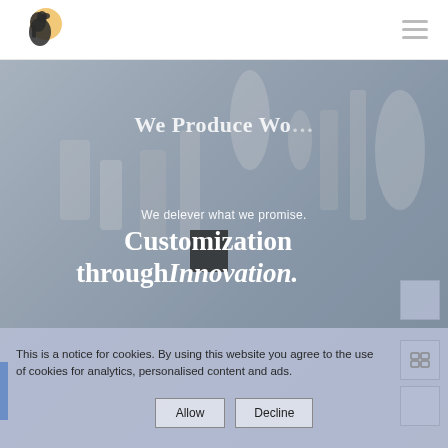[Figure (logo): Chess knight horse logo with orange/gold sun circle background]
[Figure (illustration): Hamburger/menu icon with three horizontal bars]
[Figure (photo): Hero background with chess pieces photo, overlaid with text and a dark square element]
We Produce Wo
We delever what we promise.
Customization through Innovation.
This is a notice for cookies. By using this website you agree to the use of cookies for analytics, personalised content and ads.
Allow
Decline